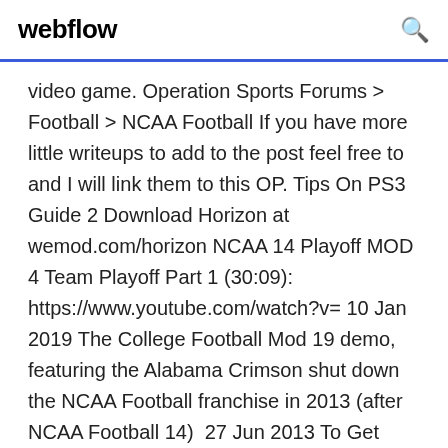webflow
video game. Operation Sports Forums > Football > NCAA Football If you have more little writeups to add to the post feel free to and I will link them to this OP. Tips On PS3 Guide 2 Download Horizon at wemod.com/horizon NCAA 14 Playoff MOD 4 Team Playoff Part 1 (30:09): https://www.youtube.com/watch?v= 10 Jan 2019 The College Football Mod 19 demo, featuring the Alabama Crimson shut down the NCAA Football franchise in 2013 (after NCAA Football 14)  27 Jun 2013 To Get ncaa football 14 Game free on PC , xbox360 , PS3 Just Visit the following official Website: How to Download ncaa football 14 Free PC,xbox,PS3 Hack NCAA Football 13 Crack Xbox 360 - PS3. 0:32. Hack